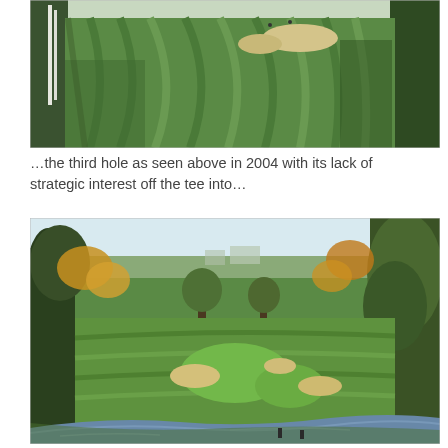[Figure (photo): Aerial/elevated view of a golf course fairway showing mowed stripe patterns on green grass, sand bunkers in the distance, and trees on the edges. Photo taken in 2004.]
…the third hole as seen above in 2004 with its lack of strategic interest off the tee into…
[Figure (photo): View of a renovated golf course hole seen from an elevated tee position, framed by trees with autumn foliage, showing a wide fairway with sand bunkers, a green, and a water hazard/stream in the foreground.]